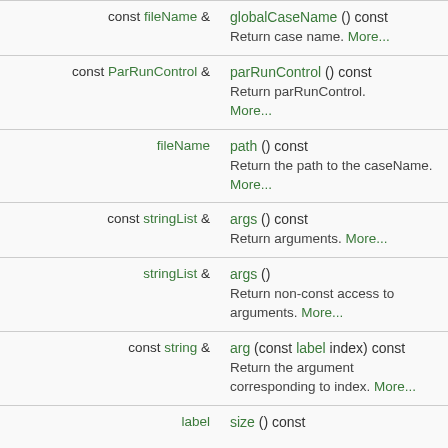| Return type | Function |
| --- | --- |
| const fileName & | globalCaseName () const
Return case name. More... |
| const ParRunControl & | parRunControl () const
Return parRunControl. More... |
| fileName | path () const
Return the path to the caseName. More... |
| const stringList & | args () const
Return arguments. More... |
| stringList & | args ()
Return non-const access to arguments. More... |
| const string & | arg (const label index) const
Return the argument corresponding to index. More... |
| label | size () const |